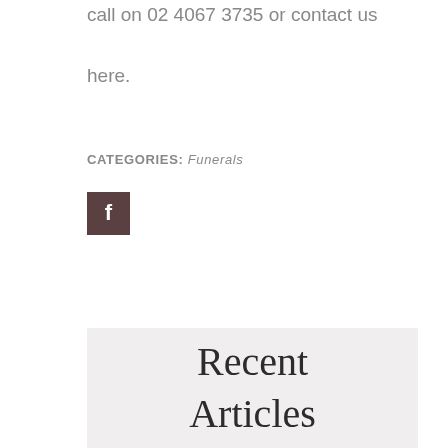call on 02 4067 3735 or contact us here.
CATEGORIES: Funerals
[Figure (logo): Facebook share button icon — brown square with white letter F]
Recent Articles